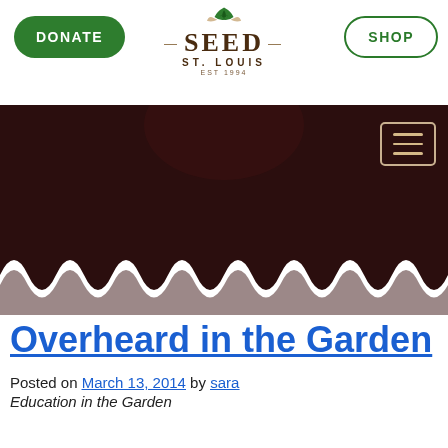DONATE | SEED ST. LOUIS EST 1994 | SHOP
[Figure (screenshot): Dark brown banner with scalloped bottom edge and hamburger menu icon in upper right]
Overheard in the Garden
Posted on March 13, 2014 by sara
Education in the Garden